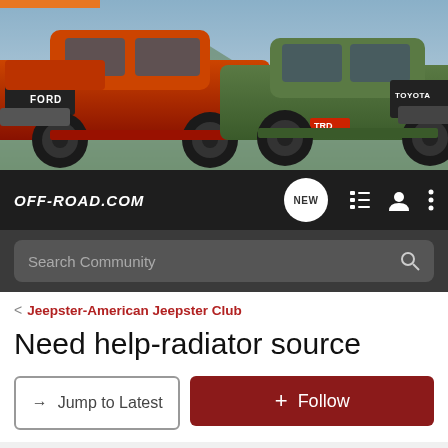[Figure (photo): Hero banner showing a Ford F-150 Raptor in orange on the left and a Toyota Tacoma TRD in green on the right, against a mountain backdrop]
OFF-ROAD.COM navigation bar with logo, NEW badge, list icon, user icon, and menu icon
Search Community
< Jeepster-American Jeepster Club
Need help-radiator source
→ Jump to Latest
+ Follow
NEWS   PARTS   JEEP & 4x4   ATV & UTV